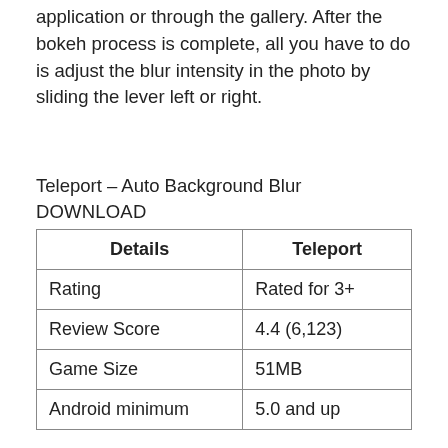application or through the gallery. After the bokeh process is complete, all you have to do is adjust the blur intensity in the photo by sliding the lever left or right.
Teleport – Auto Background Blur
DOWNLOAD
| Details | Teleport |
| --- | --- |
| Rating | Rated for 3+ |
| Review Score | 4.4 (6,123) |
| Game Size | 51MB |
| Android minimum | 5.0 and up |
4. PicsArt Photo Studio